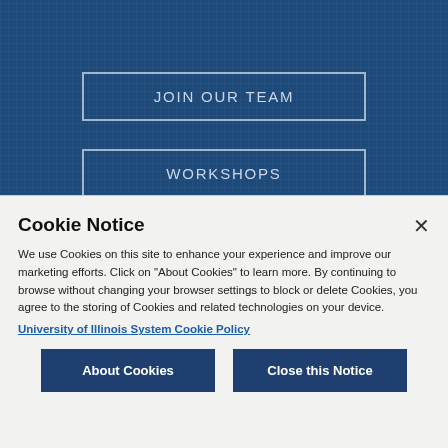JOIN OUR TEAM
WORKSHOPS
Cookie Notice
We use Cookies on this site to enhance your experience and improve our marketing efforts. Click on "About Cookies" to learn more. By continuing to browse without changing your browser settings to block or delete Cookies, you agree to the storing of Cookies and related technologies on your device.
University of Illinois System Cookie Policy
About Cookies
Close this Notice